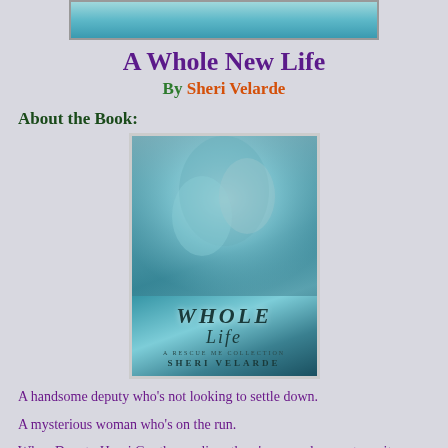[Figure (photo): Top banner image showing a teal/ocean scene, partially cropped at the top of the page]
A Whole New Life
By Sheri Velarde
About the Book:
[Figure (photo): Book cover for 'A Whole New Life' by Sheri Velarde showing a man and woman about to kiss against a teal watercolor background, with the title in stylized text at the bottom]
A handsome deputy who’s not looking to settle down.
A mysterious woman who’s on the run.
When Deputy Henri Gunther realizes there’s so much more to waitress Jenna Trippleton, his simple small-town life explodes